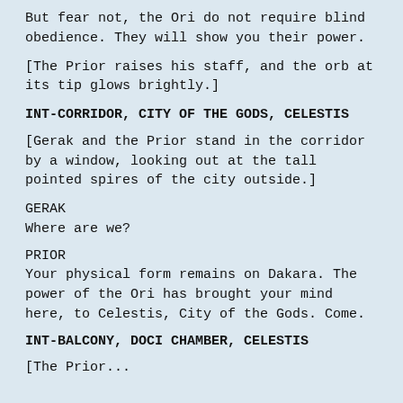But fear not, the Ori do not require blind obedience. They will show you their power.
[The Prior raises his staff, and the orb at its tip glows brightly.]
INT-CORRIDOR, CITY OF THE GODS, CELESTIS
[Gerak and the Prior stand in the corridor by a window, looking out at the tall pointed spires of the city outside.]
GERAK
Where are we?
PRIOR
Your physical form remains on Dakara. The power of the Ori has brought your mind here, to Celestis, City of the Gods. Come.
INT-BALCONY, DOCI CHAMBER, CELESTIS
[The Prior...